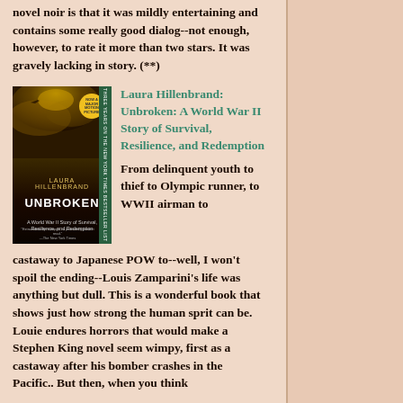novel noir is that it was mildly entertaining and contains some really good dialog--not enough, however, to rate it more than two stars. It was gravely lacking in story. (**)
[Figure (illustration): Book cover of 'Unbroken' by Laura Hillenbrand — dark stormy sky background, bold white text for title, yellow medallion badge, green spine]
Laura Hillenbrand: Unbroken: A World War II Story of Survival, Resilience, and Redemption
From delinquent youth to thief to Olympic runner, to WWII airman to castaway to Japanese POW to--well, I won't spoil the ending--Louis Zamparini's life was anything but dull. This is a wonderful book that shows just how strong the human sprit can be. Louie endures horrors that would make a Stephen King novel seem wimpy, first as a castaway after his bomber crashes in the Pacific.. But then, when you think